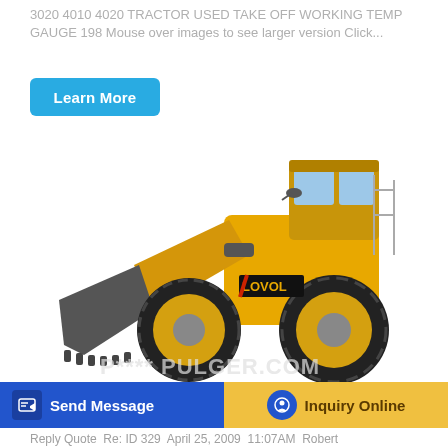3020 4010 4020 TRACTOR USED TAKE OFF WORKING TEMP GAUGE 198 Mouse over images to see larger version Click...
[Figure (other): Blue rounded rectangle button labeled 'Learn More']
[Figure (photo): A yellow Lovol wheel loader / front-end loader with large black tires and a grey bucket attachment, photographed on white background]
P**** PULGER.COM
Send Message
Inquiry Online
Reply Quote  Re: ID 329  April 25, 2009  11:07AM  Robert